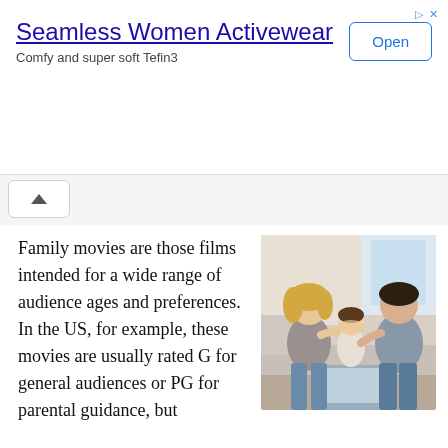[Figure (screenshot): Advertisement banner for Seamless Women Activewear with 'Open' button and ad icons in the top right corner.]
Seamless Women Activewear
Comfy and super soft Tefin3
[Figure (screenshot): Collapse/chevron-up button in a toolbar area below the ad banner.]
Family movies are those films intended for a wide range of audience ages and preferences. In the US, for example, these movies are usually rated G for general audiences or PG for parental guidance, but
[Figure (photo): A family of three — a blonde woman, a young girl, and a dark-haired man — sitting on a couch watching TV together.]